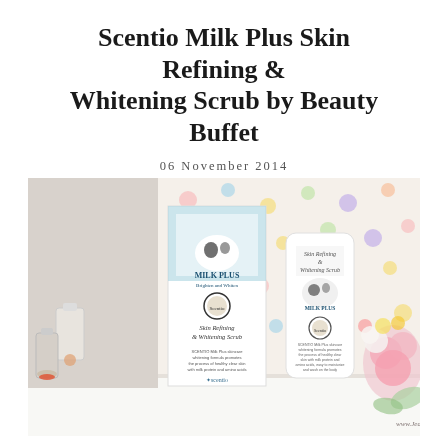Scentio Milk Plus Skin Refining & Whitening Scrub by Beauty Buffet
06 November 2014
[Figure (photo): Product photo showing Scentio Milk Plus Skin Refining & Whitening Scrub box packaging and tube, displayed on a white surface with colorful polka dot background and pink roses on the right side. Small decorative glass bottles on the left. Watermark: www.JeansTGRs.com]